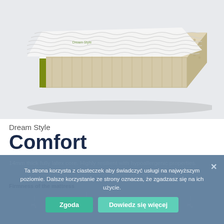[Figure (photo): 3D illustration of a cut-away mattress showing latex foam interior, white quilted top surface with leaf pattern, and beige perforated latex core with vertical channels]
Dream Style
Comfort
14mm thick fully latex core. Highly resilient with hypoallergenic properties.
Firmness of the mattress
H1  H2  H3  H4
Ta strona korzysta z ciasteczek aby świadczyć usługi na najwyższym poziomie. Dalsze korzystanie ze strony oznacza, że zgadzasz się na ich użycie.